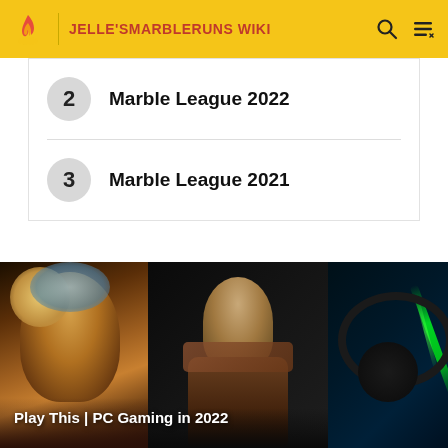JELLE'SMARBLERUNS WIKI
2   Marble League 2022
3   Marble League 2021
[Figure (photo): Advertisement banner showing three gaming images side by side: a fantasy character, a young person in robes, and a gaming headset. Text overlay reads 'Play This | PC Gaming in 2022']